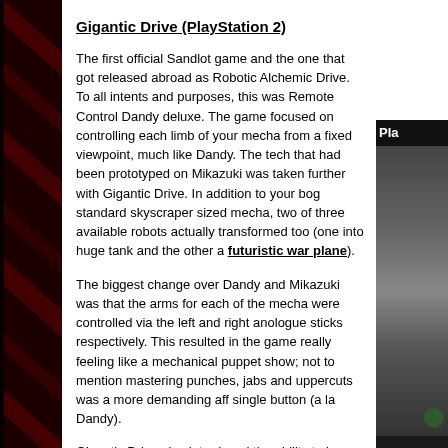Gigantic Drive (PlayStation 2)
The first official Sandlot game and the one that got released abroad as Robotic Alchemic Drive. To all intents and purposes, this was Remote Control Dandy deluxe. The game focused on controlling each limb of your mecha from a fixed viewpoint, much like Dandy. The tech that had been prototyped on Mikazuki was taken further with Gigantic Drive. In addition to your bog standard skyscraper sized mecha, two of three available robots actually transformed too (one into huge tank and the other a futuristic war plane).
The biggest change over Dandy and Mikazuki was that the arms for each of the mecha were controlled via the left and right anologue sticks respectively. This resulted in the game really feeling like a mechanical puppet show; not to mention mastering punches, jabs and uppercuts was a more demanding affair than a single button (a la Dandy).
Gigantic Drive also introduced the ability to have the human characters do more than just getting stepped on by their mechanical avatars. This prod
[Figure (photo): Right side partial image showing PlayStation 2 game cover with text 'Pla' visible at top, showing a mecha/robot image, partially cropped]